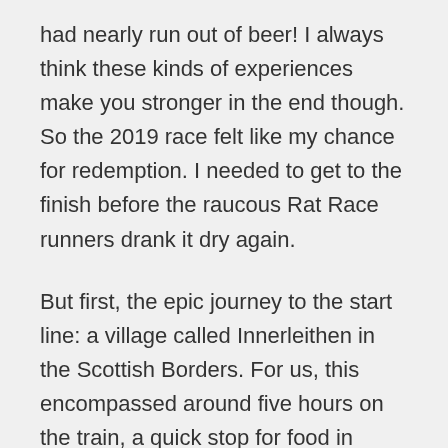had nearly run out of beer! I always think these kinds of experiences make you stronger in the end though. So the 2019 race felt like my chance for redemption. I needed to get to the finish before the raucous Rat Race runners drank it dry again.
But first, the epic journey to the start line: a village called Innerleithen in the Scottish Borders. For us, this encompassed around five hours on the train, a quick stop for food in Edinburgh, and then a 90 minute bus journey into the wilderness. The weather was not looking amenable at this point. Wrapped in all my layers and standing shivering on the exposed North Bridge waiting for the bus, I have rarely felt as cold and nervous. The wind was building, the rain had turned to sleet and running was the last thing on my mind. The